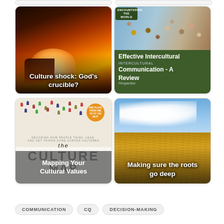[Figure (photo): Card showing fire/flames with text overlay: Culture shock: God's crucible?]
[Figure (photo): Card showing a crowd of people above dark green background with text: Effective Intercultural Communication - A Review]
[Figure (photo): Book cover for 'The Culture Map' with gray overlay text: Mapping Your Cultural Values]
[Figure (photo): Photo of wheat field under sky with clouds, text overlay: Making sure the roots go deep]
COMMUNICATION
CQ
DECISION-MAKING